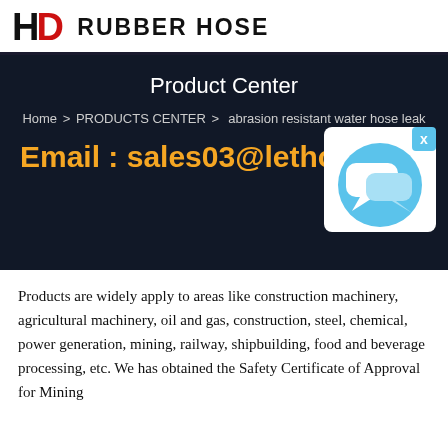HD RUBBER HOSE
Product Center
Home > PRODUCTS CENTER >  abrasion resistant water hose leak
Email : sales03@lethose.c
[Figure (illustration): Blue chat/messaging icon with speech bubble, with an 'x' close button in top-right corner]
Products are widely apply to areas like construction machinery, agricultural machinery, oil and gas, construction, steel, chemical, power generation, mining, railway, shipbuilding, food and beverage processing, etc. We has obtained the Safety Certificate of Approval for Mining